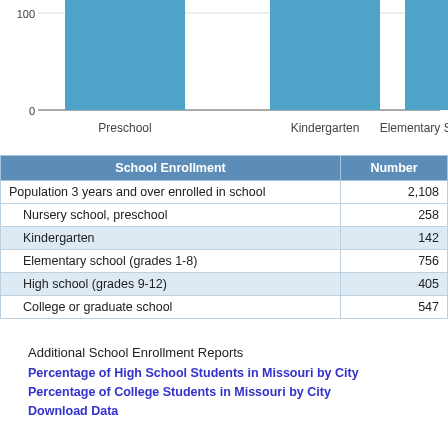[Figure (bar-chart): School Enrollment (partial, top)]
| School Enrollment | Number |
| --- | --- |
| Population 3 years and over enrolled in school | 2,108 |
| Nursery school, preschool | 258 |
| Kindergarten | 142 |
| Elementary school (grades 1-8) | 756 |
| High school (grades 9-12) | 405 |
| College or graduate school | 547 |
Additional School Enrollment Reports
Percentage of High School Students in Missouri by City
Percentage of College Students in Missouri by City
Download Data
Valley Park Education Level
[Figure (bar-chart): Valley Park Education Level]